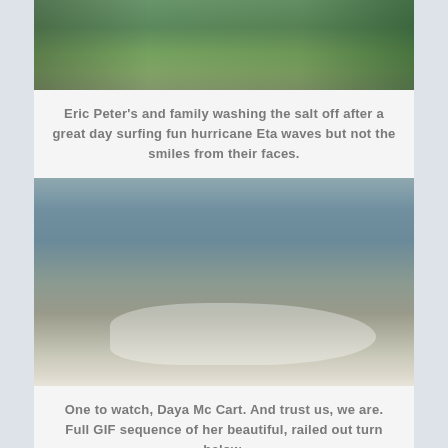[Figure (photo): Outdoor photo showing a beach boardwalk or resort area with green tropical vegetation and palm fronds visible]
Eric Peter’s and family washing the salt off after a great day surfing fun hurricane Eta waves but not the smiles from their faces.
[Figure (photo): Surfers riding waves in rough ocean water; two people surfing on waves with white water spray; overcast sky in background]
One to watch, Daya Mc Cart. And trust us, we are. Full GIF sequence of her beautiful, railed out turn below.